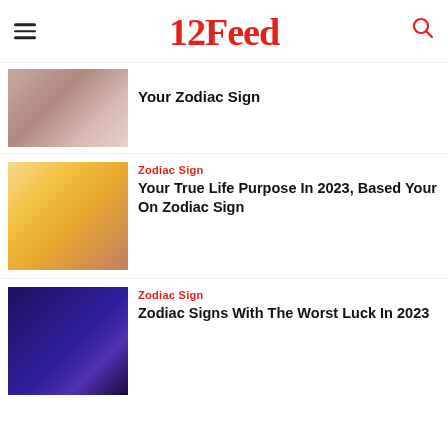12Feed
Your Zodiac Sign
Zodiac Sign
Your True Life Purpose In 2023, Based Your On Zodiac Sign
Zodiac Sign
Zodiac Signs With The Worst Luck In 2023